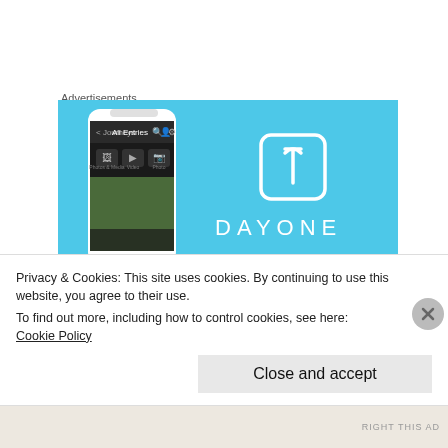Advertisements
[Figure (screenshot): DayOne app advertisement banner with light blue background showing a phone mockup on the left with the DayOne app interface and the DayOne logo (bookmark icon) and 'DAYONE' text on the right]
Beyond the fields, rise the mighty Himalayas. The nearest peak is at the height of t...
Privacy & Cookies: This site uses cookies. By continuing to use this website, you agree to their use.
To find out more, including how to control cookies, see here:
Cookie Policy
Close and accept